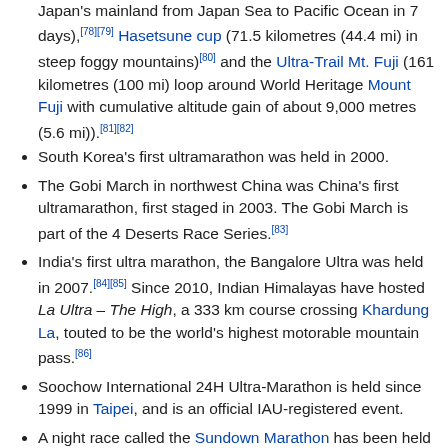Japan's mainland from Japan Sea to Pacific Ocean in 7 days), [78][79] Hasetsune cup (71.5 kilometres (44.4 mi) in steep foggy mountains)[80] and the Ultra-Trail Mt. Fuji (161 kilometres (100 mi) loop around World Heritage Mount Fuji with cumulative altitude gain of about 9,000 metres (5.6 mi)).[81][82]
South Korea's first ultramarathon was held in 2000.
The Gobi March in northwest China was China's first ultramarathon, first staged in 2003. The Gobi March is part of the 4 Deserts Race Series.[83]
India's first ultra marathon, the Bangalore Ultra was held in 2007.[84][85] Since 2010, Indian Himalayas have hosted La Ultra - The High, a 333 km course crossing Khardung La, touted to be the world's highest motorable mountain pass.[86]
Soochow International 24H Ultra-Marathon is held since 1999 in Taipei, and is an official IAU-registered event.
A night race called the Sundown Marathon has been held in Singapore annually since 2008, over a double marathon distance (84 km) up to 2010 and 100 km since then.[87]
Nepal hosts several ultramarathon races,[88] including the Annapurna 100, the Kanchenjunga Ultra Marathon Trail Running Race[89] and the Everest Ultra.[90] Running a total of 1,504 km in a bit more than 24 days, Ryan Sandes and Ryno Griesel set a new fastest known time during March